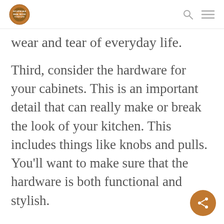Go Upscale Real Wood Furniture [logo] [search icon] [menu icon]
wear and tear of everyday life.
Third, consider the hardware for your cabinets. This is an important detail that can really make or break the look of your kitchen. This includes things like knobs and pulls. You'll want to make sure that the hardware is both functional and stylish.
Fourth, and finally, think about storage when choosing kitchen